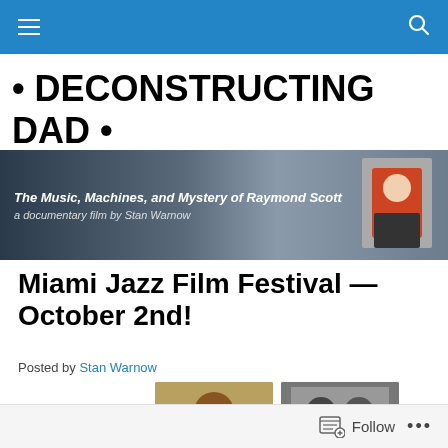Navigation bar with hamburger menu and search icon
• DECONSTRUCTING DAD •
[Figure (photo): Banner image for the documentary 'The Music, Machines, and Mystery of Raymond Scott — a documentary film by Stan Warnow', dark background with text overlay and photo of filmmaker on right]
Miami Jazz Film Festival — October 2nd!
Posted by Stan Warnow
[Figure (photo): Two thumbnail images side by side: one color photo of a musician, one black-and-white photo]
Follow  •••